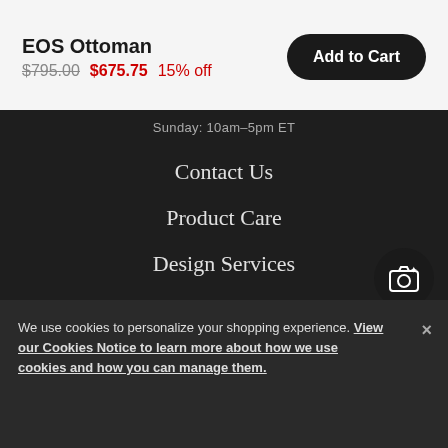EOS Ottoman
$795.00  $675.75  15% off
Add to Cart
Sunday: 10am–5pm ET
Contact Us
Product Care
Design Services
Shipping + Returns
Visit a Studio
We use cookies to personalize your shopping experience. View our Cookies Notice to learn more about how we use cookies and how you can manage them.